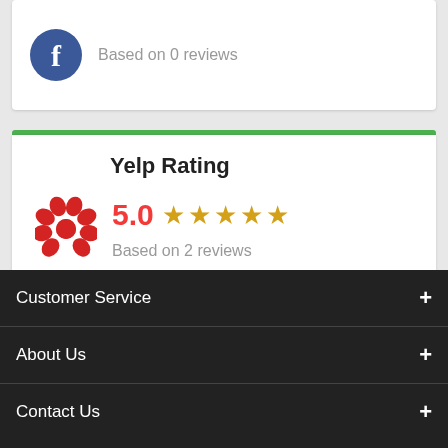Based on 0 reviews
Yelp Rating
5.0 ★★★★★
Based on 2 reviews
Customer Service +
About Us +
Contact Us +